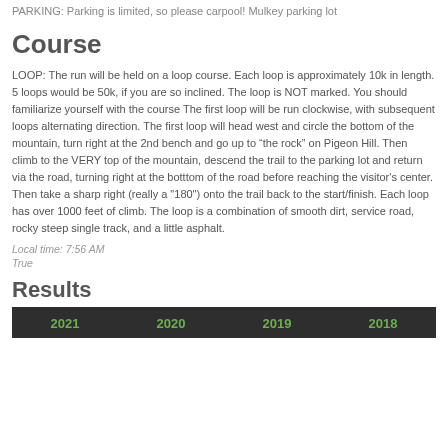PARKING: Parking is limited, so please carpool! Mulkey parking lot
Course
LOOP: The run will be held on a loop course. Each loop is approximately 10k in length. 5 loops would be 50k, if you are so inclined. The loop is NOT marked. You should familiarize yourself with the course The first loop will be run clockwise, with subsequent loops alternating direction. The first loop will head west and circle the bottom of the mountain, turn right at the 2nd bench and go up to “the rock” on Pigeon Hill. Then climb to the VERY top of the mountain, descend the trail to the parking lot and return via the road, turning right at the botttom of the road before reaching the visitor's center. Then take a sharp right (really a "180") onto the trail back to the start/finish. Each loop has over 1000 feet of climb. The loop is a combination of smooth dirt, service road, rocky steep single track, and a little asphalt.
Local time: 7:56 AM
True
Results
| 2021 | 2020 | 2019 | 2018 |
| --- | --- | --- | --- |